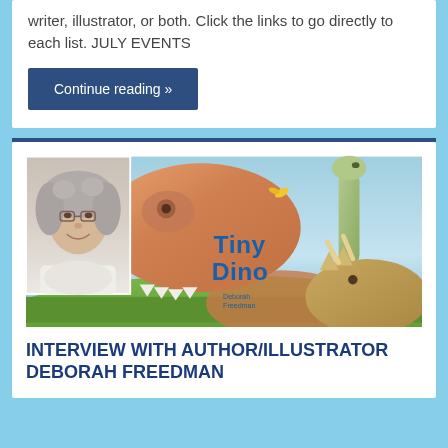writer, illustrator, or both. Click the links to go directly to each list. JULY EVENTS
Continue reading »
[Figure (photo): Book cover of 'Tiny Dino' by Deborah Freedman overlaid with author photo. Cover shows illustrated dinosaurs in a watercolor style — a large orange/tan dinosaur head on left, a long-necked dinosaur on the right, and a brown triceratops-like dinosaur on lower right, set against a blue sky and green ground. A small author photo (woman with curly gray hair and glasses) is in the upper left corner. 'Tiny Dino' text in blue on the cover.]
INTERVIEW WITH AUTHOR/ILLUSTRATOR DEBORAH FREEDMAN